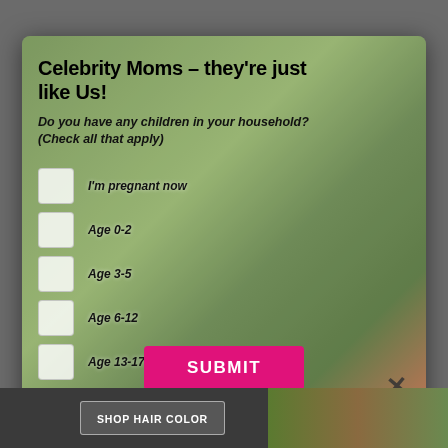[Figure (photo): Modal popup overlay on a webpage showing a woman holding two children (a toddler in plaid and a baby) in an outdoor setting with green trees and a metal railing. Background website shows dark gray.]
Celebrity Moms – they're just like Us!
Do you have any children in your household? (Check all that apply)
I'm pregnant now
Age 0-2
Age 3-5
Age 6-12
Age 13-17
No children currently living with me
SUBMIT
SHOP HAIR COLOR